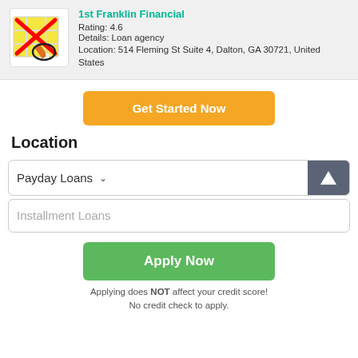[Figure (logo): 1st Franklin Financial logo with map and red X overlay]
1st Franklin Financial
Rating: 4.6
Details: Loan agency
Location: 514 Fleming St Suite 4, Dalton, GA 30721, United States
Get Started Now
Location
Payday Loans
Installment Loans
Apply Now
Applying does NOT affect your credit score! No credit check to apply.